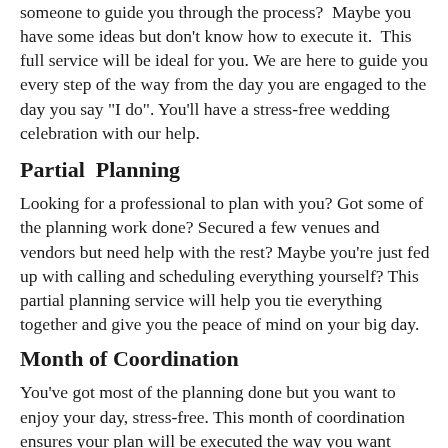someone to guide you through the process?  Maybe you have some ideas but don't know how to execute it.  This full service will be ideal for you. We are here to guide you every step of the way from the day you are engaged to the day you say "I do". You'll have a stress-free wedding celebration with our help.
Partial  Planning
Looking for a professional to plan with you? Got some of the planning work done? Secured a few venues and vendors but need help with the rest? Maybe you're just fed up with calling and scheduling everything yourself? This partial planning service will help you tie everything together and give you the peace of mind on your big day.
Month of Coordination
You've got most of the planning done but you want to enjoy your day, stress-free. This month of coordination ensures your plan will be executed the way you want without having to worry about